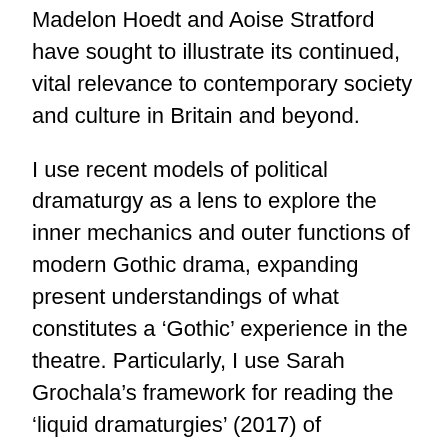Madelon Hoedt and Aoise Stratford have sought to illustrate its continued, vital relevance to contemporary society and culture in Britain and beyond.
I use recent models of political dramaturgy as a lens to explore the inner mechanics and outer functions of modern Gothic drama, expanding present understandings of what constitutes a ‘Gothic’ experience in the theatre. Particularly, I use Sarah Grochala’s framework for reading the ‘liquid dramaturgies’ (2017) of contemporary political playwriting, arguing that Gothic dramaturgies are more closely aligned with the ideologies, forms, aesthetics and affects of political theatre than is currently recognised. At the same time, where Gothic dramaturgies seem to fundamentally oppose the ‘hopeful’ imperatives of politically-engaged